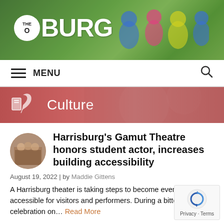[Figure (photo): Website header hero image showing children in colorful hoodies sitting on grass, with 'The Burg' logo overlaid]
THE BURG — MENU
[Figure (infographic): Culture section banner with reddish-pink background, showing a writing/culture icon and the word 'Culture' in white text]
[Figure (photo): Small circular thumbnail photo of people gathered, likely at the Gamut Theatre event]
Harrisburg's Gamut Theatre honors student actor, increases building accessibility
August 19, 2022 | by Maddie Gittens
A Harrisburg theater is taking steps to become even more accessible for visitors and performers. During a bittersweet celebration on… Read More